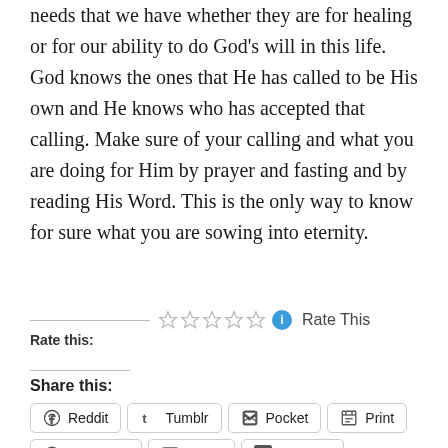needs that we have whether they are for healing or for our ability to do God's will in this life. God knows the ones that He has called to be His own and He knows who has accepted that calling. Make sure of your calling and what you are doing for Him by prayer and fasting and by reading His Word. This is the only way to know for sure what you are sowing into eternity.
Rate this: ☆☆☆☆☆ Rate This
Share this:
Reddit  Tumblr  Pocket  Print  Facebook  Email  LinkedIn  Twitter  Pinterest  WhatsApp